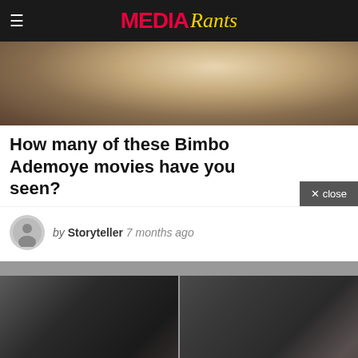MEDIA Rants
[Figure (photo): Hero image showing a person lying in grass or hay, partially cropped at the top of the article]
How many of these Bimbo Ademoye movies have you seen?
by Storyteller  7 months ago
[Figure (photo): Two side-by-side black and white photos: left shows a woman with sunglasses posing, right shows a man in a suit jacket]
[Figure (other): Orange bar at the bottom of the page]